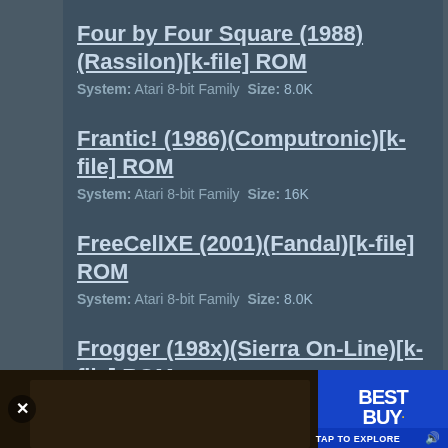Four by Four Square (1988)(Rassilon)[k-file] ROM
System: Atari 8-bit Family Size: 8.0K
Frantic! (1986)(Computronic)[k-file] ROM
System: Atari 8-bit Family Size: 16K
FreeCellXE (2001)(Fandal)[k-file] ROM
System: Atari 8-bit Family Size: 8.0K
Frogger (198x)(Sierra On-Line)[k-file] ROM
System: Atari 8-bit Family Size: 12K
Frogger 2 - Theeedeep! (19xx)(Parker Bros)[k-file] ROM
System: Atari 8-bit Family Size: 12K
[Figure (screenshot): Best Buy advertisement banner at bottom with close button, image of people, Best Buy logo and TAP TO EXPLORE call to action]